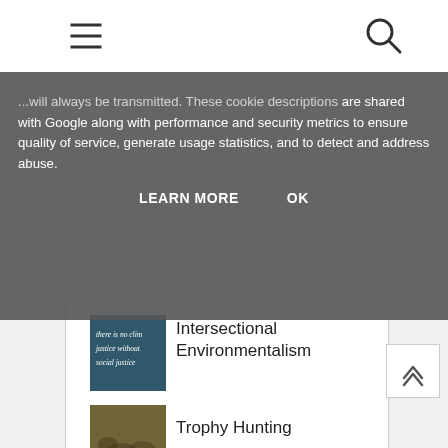Navigation bar with hamburger menu and search icon
...will always be transmitted. These cookie descriptions are shared with Google along with performance and security metrics to ensure quality of service, generate usage statistics, and to detect and address abuse.
LEARN MORE    OK
[Figure (photo): Thumbnail image with text overlay reading 'there is no climate justice without social justice']
Intersectional Environmentalism
[Figure (photo): Thumbnail image of two deer/antelopes on dry ground]
Trophy Hunting